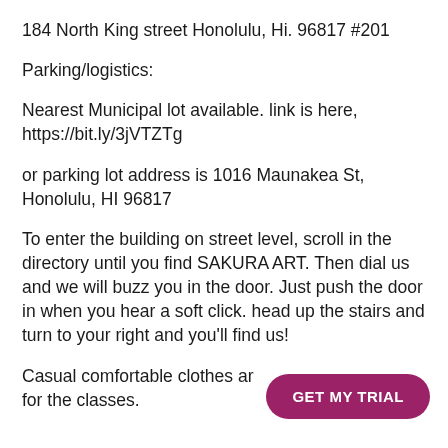184 North King street Honolulu, Hi. 96817 #201
Parking/logistics:
Nearest Municipal lot available. link is here, https://bit.ly/3jVTZTg
or parking lot address is 1016 Maunakea St, Honolulu, HI 96817
To enter the building on street level, scroll in the directory until you find SAKURA ART. Then dial us and we will buzz you in the door. Just push the door in when you hear a soft click. head up the stairs and turn to your right and you'll find us!
Casual comfortable clothes ar... for the classes.